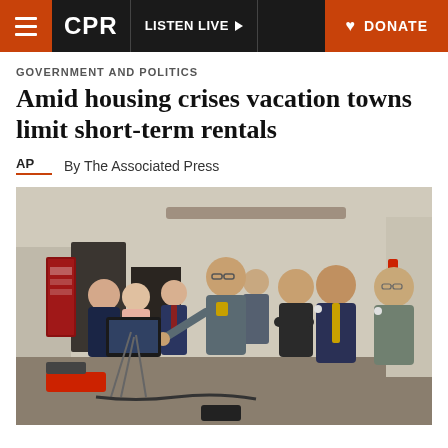CPR | LISTEN LIVE | DONATE
GOVERNMENT AND POLITICS
Amid housing crises vacation towns limit short-term rentals
By The Associated Press
[Figure (photo): A police officer in uniform points at a monitor/screen while several people in business attire look on inside what appears to be a community or government building. Multiple people are visible in the background.]